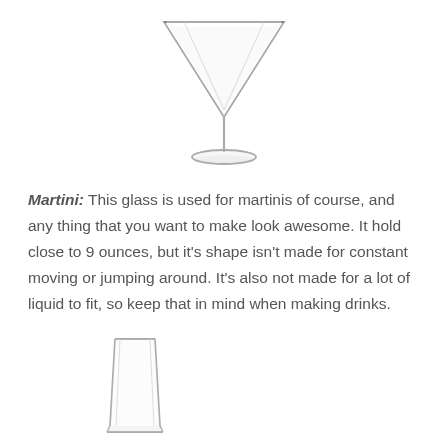[Figure (illustration): A martini glass illustration — wide triangular bowl on a thin stem with a flat base, viewed from the front. Black and white line drawing.]
Martini: This glass is used for martinis of course, and any thing that you want to make look awesome. It hold close to 9 ounces, but it's shape isn't made for constant moving or jumping around. It's also not made for a lot of liquid to fit, so keep that in mind when making drinks.
[Figure (illustration): A tall shot glass illustration — tall narrow cylindrical glass, viewed from the front. Black and white line drawing.]